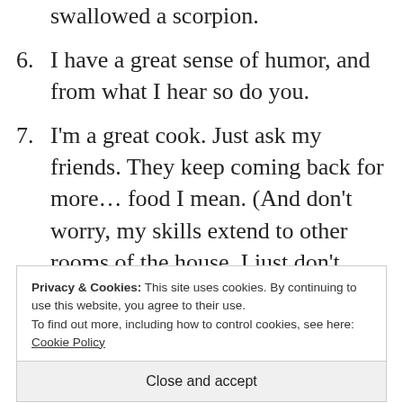swallowed a scorpion.
6. I have a great sense of humor, and from what I hear so do you.
7. I'm a great cook. Just ask my friends. They keep coming back for more… food I mean. (And don't worry, my skills extend to other rooms of the house. I just don't want to get too detailed because my mom reads this
Privacy & Cookies: This site uses cookies. By continuing to use this website, you agree to their use.
To find out more, including how to control cookies, see here: Cookie Policy
Close and accept
reading this on my blog. I just want you to